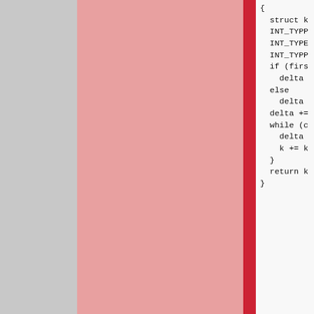[Figure (screenshot): Git blame view showing code with commit hash, date, author columns on left and source code on right. Three blame rows visible: top large block with no hash/date/author shown (gray/pink background), middle row with hash 3715ee, date 2003-02-19, author Marcus Comstedt, and bottom row with hash 19f767, date 2003-02-18, author Marcus Comstedt. Code panel shows C/Pike source code fragments.]